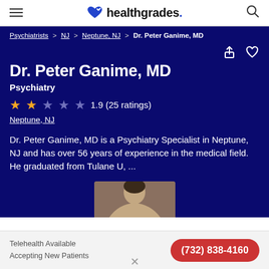healthgrades
Psychiatrists > NJ > Neptune, NJ > Dr. Peter Ganime, MD
Dr. Peter Ganime, MD
Psychiatry
1.9 (25 ratings)
Neptune, NJ
Dr. Peter Ganime, MD is a Psychiatry Specialist in Neptune, NJ and has over 56 years of experience in the medical field. He graduated from Tulane U, ...
[Figure (photo): Partial photo of Dr. Peter Ganime]
Telehealth Available
Accepting New Patients
(732) 838-4160